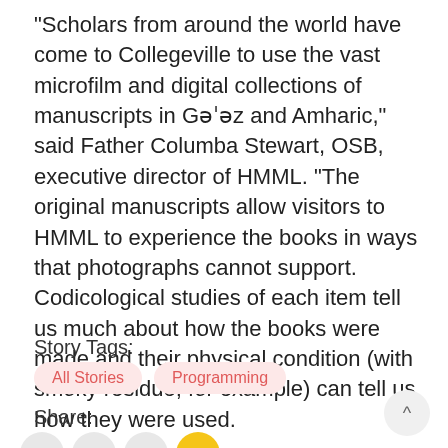“Scholars from around the world have come to Collegeville to use the vast microfilm and digital collections of manuscripts in Gəˈəz and Amharic,” said Father Columba Stewart, OSB, executive director of HMML. “The original manuscripts allow visitors to HMML to experience the books in ways that photographs cannot support. Codicological studies of each item tell us much about how the books were made and their physical condition (with smoky residue, for example) can tell us how they were used.
Story Tags:
All Stories
Programming
Share: